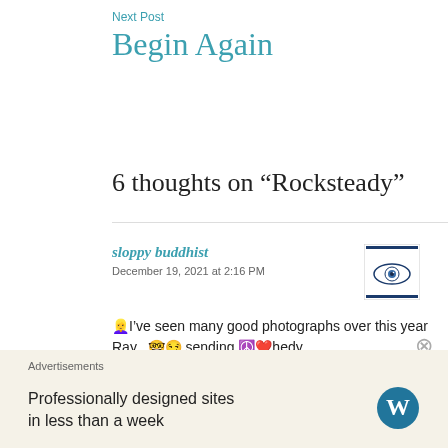Next Post
Begin Again
6 thoughts on “Rocksteady”
sloppy buddhist
December 19, 2021 at 2:16 PM
[Figure (illustration): Avatar thumbnail showing an eye illustration]
👱‍♀️I’ve seen many good photographs over this year Ray...🤓😏 sending ☮️❤️hedy
Advertisements
Professionally designed sites in less than a week